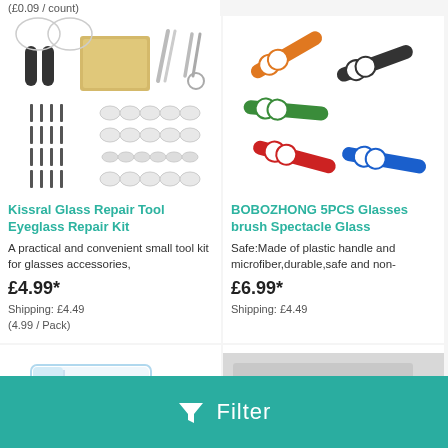(£0.09 / count)
[Figure (photo): Eyeglass repair kit with nose pads, screwdrivers, tweezers, scissors, and cleaning cloth]
Kissral Glass Repair Tool Eyeglass Repair Kit
A practical and convenient small tool kit for glasses accessories,
£4.99*
Shipping: £4.49
(4.99 / Pack)
[Figure (photo): 5 colorful plastic microfiber glasses lens cleaning brush clips in orange, black, green, red, and blue]
BOBOZHONG 5PCS Glasses brush Spectacle Glass
Safe:Made of plastic handle and microfiber,durable,safe and non-
£6.99*
Shipping: £4.49
[Figure (photo): Partial view of transparent glasses case]
[Figure (photo): Partial view of grey product]
Filter